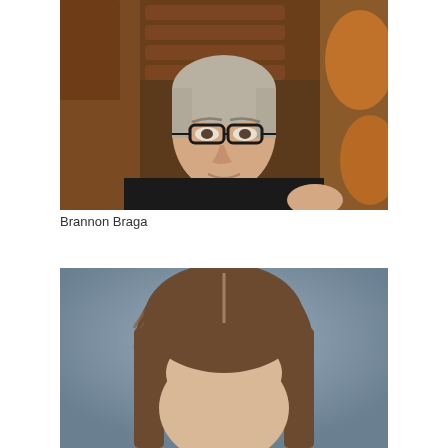[Figure (photo): A man with glasses wearing a black t-shirt seated in what appears to be an auditorium or theater with wooden chairs/seats visible in the background]
Brannon Braga
[Figure (photo): A woman with brown hair photographed against a blue-gray background, visible from the top of the head downward]